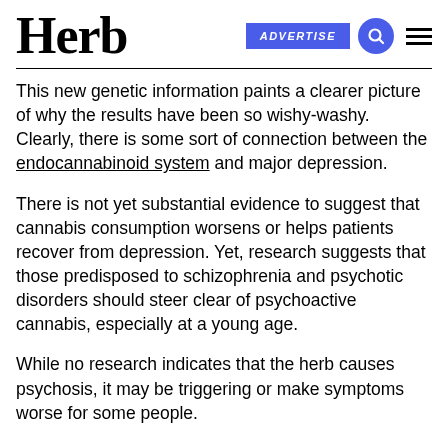Herb
This new genetic information paints a clearer picture of why the results have been so wishy-washy. Clearly, there is some sort of connection between the endocannabinoid system and major depression.
There is not yet substantial evidence to suggest that cannabis consumption worsens or helps patients recover from depression. Yet, research suggests that those predisposed to schizophrenia and psychotic disorders should steer clear of psychoactive cannabis, especially at a young age.
While no research indicates that the herb causes psychosis, it may be triggering or make symptoms worse for some people.
[Figure (other): Social media share icons: Facebook, Twitter, Pinterest]